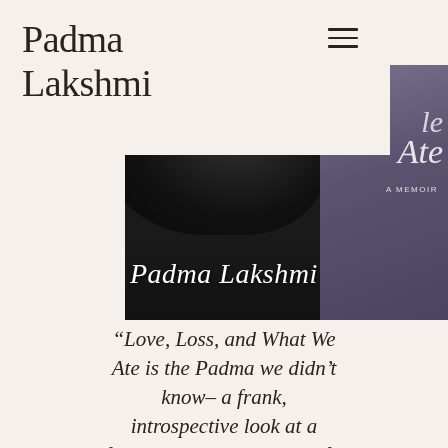Padma Lakshmi
[Figure (photo): Book cover of 'Love, Loss, and What We Ate' by Padma Lakshmi — a memoir. The cover shows a black-and-white photo of a woman with dark hair on the left, and a muted purple background on the right with script text 'Padma Lakshmi' and 'Ate' in cursive, plus 'A MEMOIR' in small caps.]
“Love, Loss, and What We Ate is the Padma we didn’t know– a frank, introspective look at a fascinating and unusual life. Surprisingly revealing and